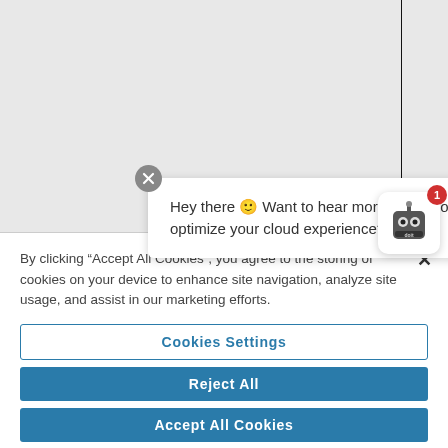[Figure (screenshot): Chat popup bubble with close (X) button and robot mascot widget with red badge showing '1'. Chat text reads: Hey there 👋 Want to hear more about how to optimize your cloud experience?]
Hey there 👋 Want to hear more about how to optimize your cloud experience?
By clicking "Accept All Cookies", you agree to the storing of cookies on your device to enhance site navigation, analyze site usage, and assist in our marketing efforts.
Cookies Settings
Reject All
Accept All Cookies